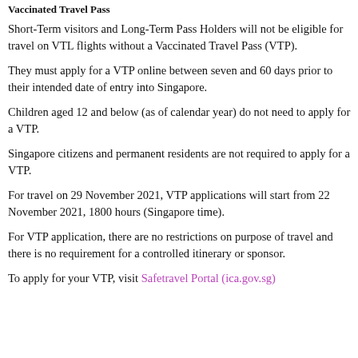Vaccinated Travel Pass
Short-Term visitors and Long-Term Pass Holders will not be eligible for travel on VTL flights without a Vaccinated Travel Pass (VTP).
They must apply for a VTP online between seven and 60 days prior to their intended date of entry into Singapore.
Children aged 12 and below (as of calendar year) do not need to apply for a VTP.
Singapore citizens and permanent residents are not required to apply for a VTP.
For travel on 29 November 2021, VTP applications will start from 22 November 2021, 1800 hours (Singapore time).
For VTP application, there are no restrictions on purpose of travel and there is no requirement for a controlled itinerary or sponsor.
To apply for your VTP, visit Safetravel Portal (ica.gov.sg)